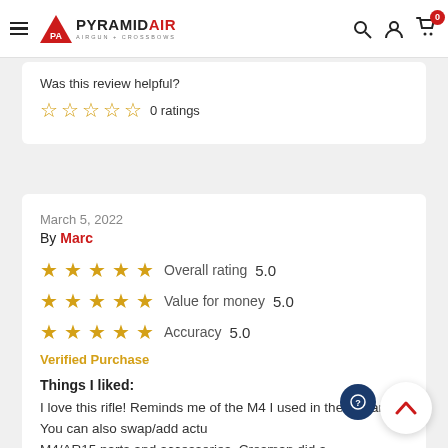Pyramyd Air – Airgun + Crossbows
Was this review helpful? ☆☆☆☆☆ 0 ratings
March 5, 2022
By Marc
★★★★★ Overall rating 5.0
★★★★★ Value for money 5.0
★★★★★ Accuracy 5.0
Verified Purchase
Things I liked:
I love this rifle! Reminds me of the M4 I used in the military. You can also swap/add actual M4/AR15 parts and accessories. Crosman did a